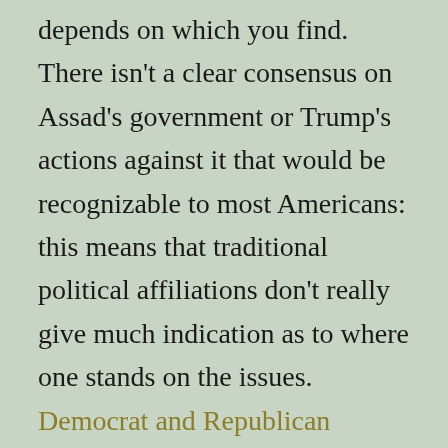depends on which you find. There isn't a clear consensus on Assad's government or Trump's actions against it that would be recognizable to most Americans: this means that traditional political affiliations don't really give much indication as to where one stands on the issues. Democrat and Republican lawmakers both condemned and approved of Trump's most recent move. The type of party-based, conservative-versus-liberal discourse that Americans are used to seeing does not adequately apply.